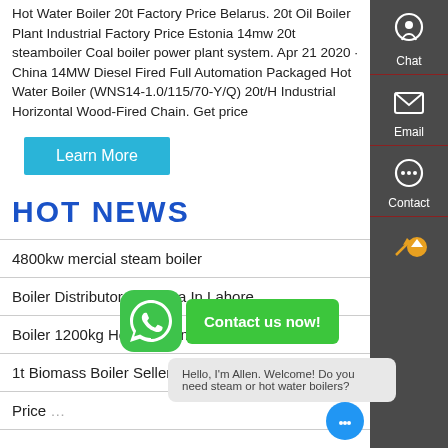Hot Water Boiler 20t Factory Price Belarus. 20t Oil Boiler Plant Industrial Factory Price Estonia 14mw 20t steamboiler Coal boiler power plant system. Apr 21 2020 · China 14MW Diesel Fired Full Automation Packaged Hot Water Boiler (WNS14-1.0/115/70-Y/Q) 20t/H Industrial Horizontal Wood-Fired Chain. Get price
Learn More
HOT NEWS
4800kw mercial steam boiler
Boiler Distributor Of China In Lahore
Boiler 1200kg Hour In Coma…
1t Biomass Boiler Seller
Price …
[Figure (screenshot): WhatsApp icon and green Contact us now! button popup]
Hello, I'm Allen. Welcome! Do you need steam or hot water boilers?
[Figure (infographic): Sidebar with Chat, Email, Contact, and back-to-top icons on dark grey background]